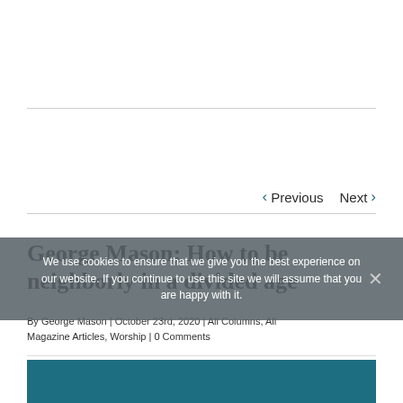‹ Previous   Next ›
George Mason: How to be neighborly in a divided age
We use cookies to ensure that we give you the best experience on our website. If you continue to use this site we will assume that you are happy with it.
By George Mason | October 23rd, 2020 | All Columns, All Magazine Articles, Worship | 0 Comments